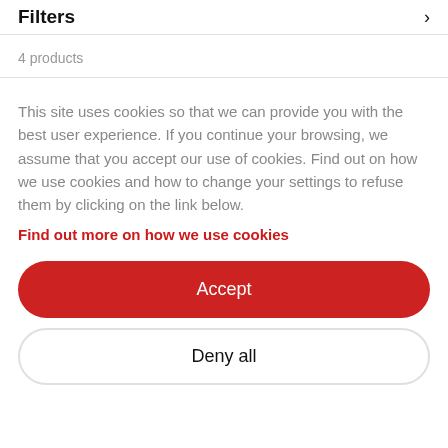Filters ›
4 products
This site uses cookies so that we can provide you with the best user experience. If you continue your browsing, we assume that you accept our use of cookies. Find out on how we use cookies and how to change your settings to refuse them by clicking on the link below.
Find out more on how we use cookies
Accept
Deny all